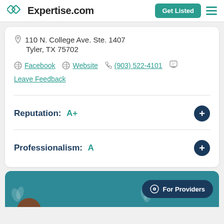Expertise.com | Get Listed
110 N. College Ave. Ste. 1407
Tyler, TX 75702
Facebook | Website | (903) 522-4101 | Leave Feedback
Reputation: A+
Professionalism: A
[Figure (screenshot): Bottom teal section with For Providers button and partial avatar/plant illustration]